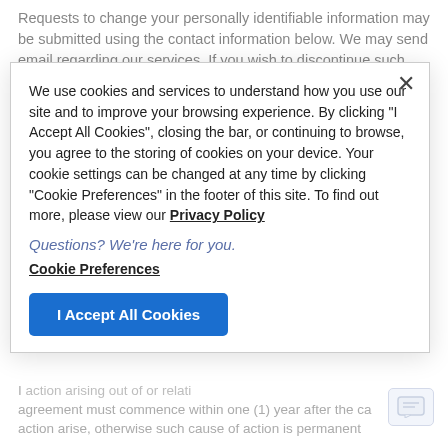Requests to change your personally identifiable information may be submitted using the contact information below. We may send email regarding our services. If you wish to discontinue such communications, follow the directions contained in the email to remove a name from our mailing list.
15.6 Governing Law; Forum and Venue Selection
A... governed by... continue to browse, you agree to the storing of cookies on your device. Your cookie settings can be changed at any time by clicking "Cookie Preferences" in the footer of this site. To find out more, please view our Privacy Policy. English language in Provo. YOUR DISPUTE ARE joined with any dispute tha...
We use cookies and services to understand how you use our site and to improve your browsing experience. By clicking "I Accept All Cookies", closing the bar, or continuing to browse, you agree to the storing of cookies on your device. Your cookie settings can be changed at any time by clicking "Cookie Preferences" in the footer of this site. To find out more, please view our Privacy Policy
Questions? We're here for you.
Cookie Preferences
I Accept All Cookies
...action arising out of or relating to this agreement must commence within one (1) year after the cause of action arose, otherwise such cause of action is permanently...